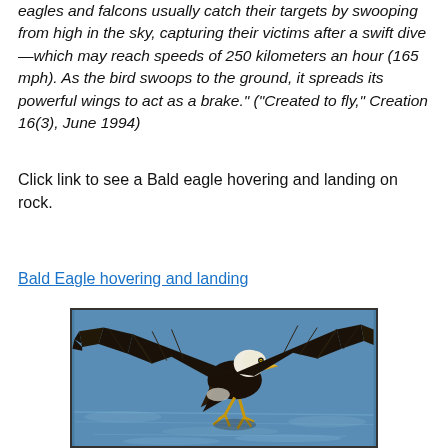eagles and falcons usually catch their targets by swooping from high in the sky, capturing their victims after a swift dive—which may reach speeds of 250 kilometers an hour (165 mph). As the bird swoops to the ground, it spreads its powerful wings to act as a brake." ("Created to fly," Creation 16(3), June 1994)
Click link to see a Bald eagle hovering and landing on rock.
Bald Eagle hovering and landing
[Figure (photo): A Bald Eagle with wings spread wide, swooping down over blue water, talons extended, about to land or catch prey.]